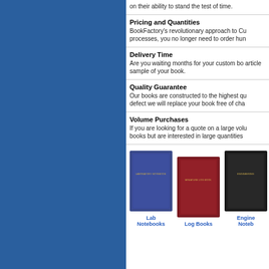on their ability to stand the test of time.
Pricing and Quantities
BookFactory's revolutionary approach to Cu processes, you no longer need to order hun
Delivery Time
Are you waiting months for your custom bo article sample of your book.
Quality Guarantee
Our books are constructed to the highest qu defect we will replace your book free of cha
Volume Purchases
If you are looking for a quote on a large volu books but are interested in large quantities
[Figure (photo): Three hardcover books: a blue lab notebook, a red log book, and a black engineering notebook]
Lab Notebooks    Log Books    Engine Noteb